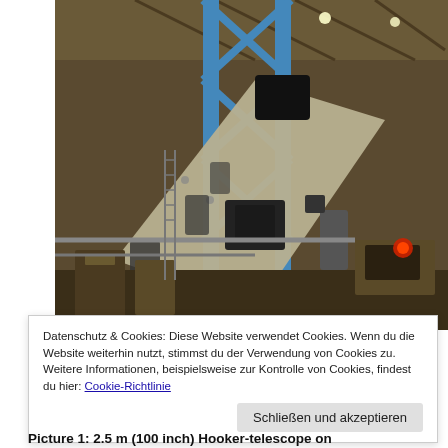[Figure (photo): Interior of an observatory dome showing a large telescope (2.5 m / 100 inch Hooker telescope) with blue steel lattice structure, beige/grey tube, various mechanical components, control desk with red light, industrial ceiling.]
Datenschutz & Cookies: Diese Website verwendet Cookies. Wenn du die Website weiterhin nutzt, stimmst du der Verwendung von Cookies zu.
Weitere Informationen, beispielsweise zur Kontrolle von Cookies, findest du hier: Cookie-Richtlinie
Schließen und akzeptieren
Picture 1: 2.5 m (100 inch) Hooker-telescope on